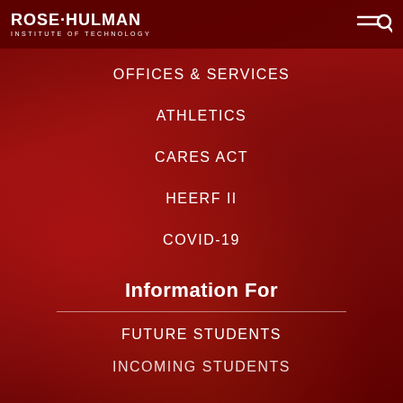ROSE-HULMAN INSTITUTE OF TECHNOLOGY
OFFICES & SERVICES
ATHLETICS
CARES ACT
HEERF II
COVID-19
Information For
FUTURE STUDENTS
INCOMING STUDENTS